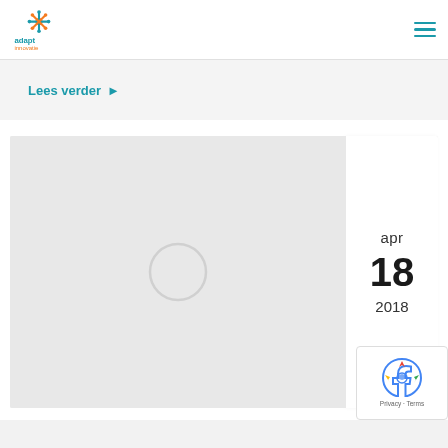adapt innovatie
Lees verder ▶
[Figure (other): Blog post card with a light grey image placeholder and a date badge showing apr 18 2018]
[Figure (other): reCAPTCHA badge with Privacy and Terms links]